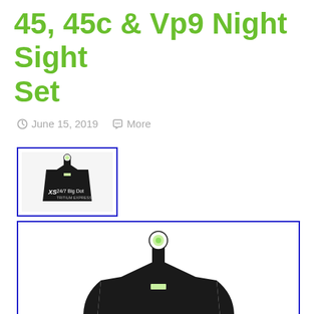45, 45c & Vp9 Night Sight Set
June 15, 2019   More
[Figure (photo): Thumbnail image of XS 24/7 Big Dot Tritium Express night sight set in a blue-bordered box]
[Figure (photo): Main product image of XS 24/7 Big Dot Tritium Express night sight set with eBay watermark, in a blue-bordered box]
[Figure (photo): Third product image (partially visible) in a blue-bordered box at bottom]